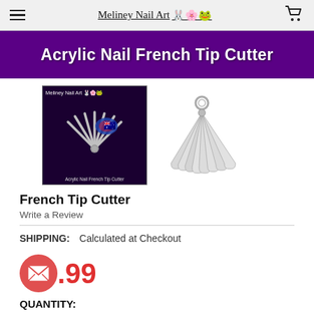Meliney Nail Art
[Figure (photo): Dark purple banner with white bold text reading 'Acrylic Nail French Tip Cutter']
[Figure (photo): Two product images: left shows acrylic nail french tip cutter tool with Meliney Nail Art branding and Australian flag, right shows a fan of white/grey nail tips on a ring]
French Tip Cutter
Write a Review
SHIPPING: Calculated at Checkout
$.99
QUANTITY: